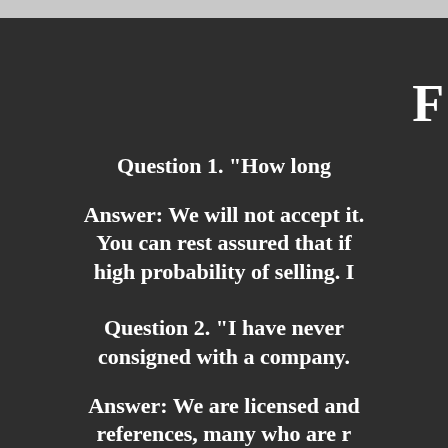F
Question 1. "How long
Answer: We will not accept it. You can rest assured that if high probability of selling. I
Question 2. "I have never consigned with a company.
Answer: We are licensed and references, many who are r BBB accredited and hav